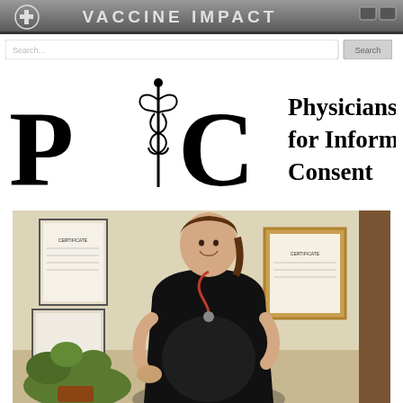[Figure (screenshot): Vaccine Impact website header banner with cross icon and site title VACCINE IMPACT in large text on grey gradient background]
[Figure (screenshot): Search bar input field from website]
[Figure (logo): Physicians for Informed Consent (PIC) logo — large stylized P, caduceus symbol, C letters followed by text Physicians for Informed Consent]
[Figure (photo): Pregnant woman in black dress standing in medical office, smiling, with framed certificates on wall behind her and a plant in the foreground]